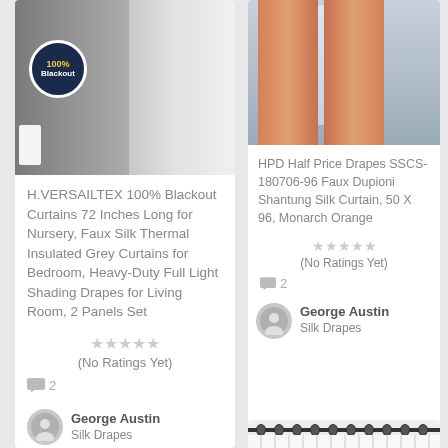[Figure (photo): Grey blackout curtains with 100% Blackout badge, shown in a bedroom setting with a lamp]
H.VERSAILTEX 100% Blackout Curtains 72 Inches Long for Nursery, Faux Silk Thermal Insulated Grey Curtains for Bedroom, Heavy-Duty Full Light Shading Drapes for Living Room, 2 Panels Set
(No Ratings Yet)
2
George Austin
Silk Drapes
[Figure (photo): Orange Monarch faux dupioni shantung silk curtains in a room setting]
HPD Half Price Drapes SSCS-180706-96 Faux Dupioni Shantung Silk Curtain, 50 X 96, Monarch Orange
(No Ratings Yet)
2
George Austin
Silk Drapes
[Figure (photo): White grommet curtains partially visible at bottom right]